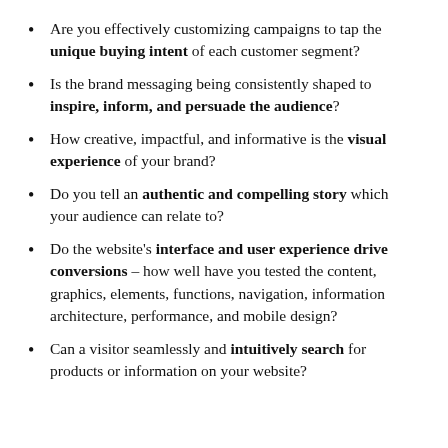Are you effectively customizing campaigns to tap the unique buying intent of each customer segment?
Is the brand messaging being consistently shaped to inspire, inform, and persuade the audience?
How creative, impactful, and informative is the visual experience of your brand?
Do you tell an authentic and compelling story which your audience can relate to?
Do the website's interface and user experience drive conversions – how well have you tested the content, graphics, elements, functions, navigation, information architecture, performance, and mobile design?
Can a visitor seamlessly and intuitively search for products or information on your website?